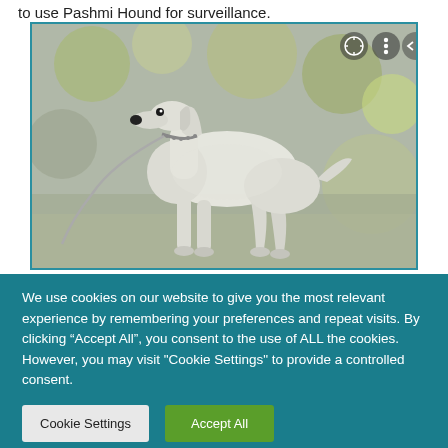to use Pashmi Hound for surveillance.
[Figure (photo): A white Saluki/Pashmi Hound dog standing on a leash in a park or outdoor setting, photographed in profile. The dog has long silky ears and a slender build. Background is blurred green foliage. Video player control icons appear in top right corner.]
We use cookies on our website to give you the most relevant experience by remembering your preferences and repeat visits. By clicking “Accept All”, you consent to the use of ALL the cookies. However, you may visit "Cookie Settings" to provide a controlled consent.
Cookie Settings
Accept All